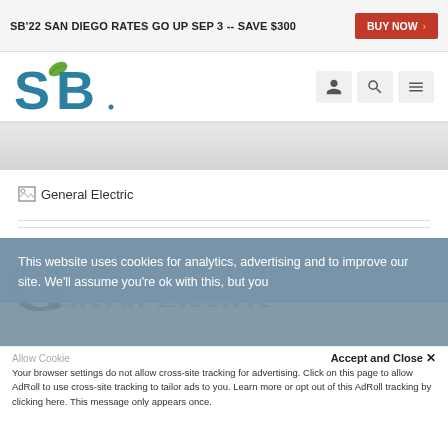SB'22 SAN DIEGO RATES GO UP SEP 3 -- SAVE $300  BUY NOW
[Figure (logo): SB (Sustainable Brands) logo with green leaf and teal lettering, with navigation icons (user, search, menu)]
[Figure (other): Broken image placeholder labeled General Electric]
This website uses cookies for analytics, advertising and to improve our site. We'll assume you're ok with this, but you
Accept and Close ×
Allow Cookies
Your browser settings do not allow cross-site tracking for advertising. Click on this page to allow AdRoll to use cross-site tracking to tailor ads to you. Learn more or opt out of this AdRoll tracking by clicking here. This message only appears once.